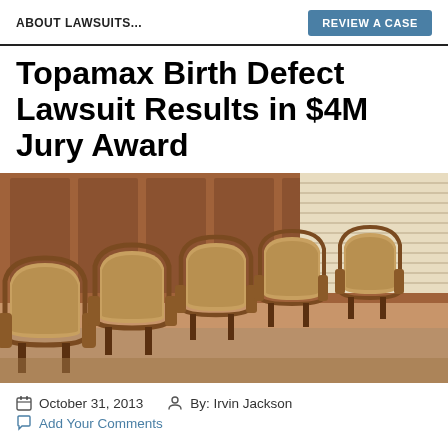ABOUT LAWSUITS...
Topamax Birth Defect Lawsuit Results in $4M Jury Award
[Figure (photo): Photograph of empty courtroom jury chairs/seats arranged in rows, wooden chairs with tan upholstery in a courtroom setting]
October 31, 2013   By: Irvin Jackson
Add Your Comments